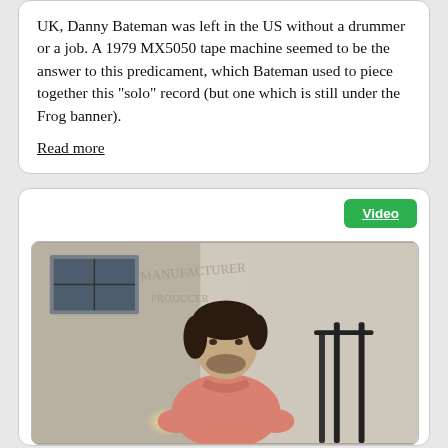UK, Danny Bateman was left in the US without a drummer or a job. A 1979 MX5050 tape machine seemed to be the answer to this predicament, which Bateman used to piece together this "solo" record (but one which is still under the Frog banner).
Read more
Video
[Figure (photo): Man with dark hair and beard wearing a pink t-shirt standing in front of a building with faded lettering reading 'MANUFACTURER PRODUCER' and number 3312]